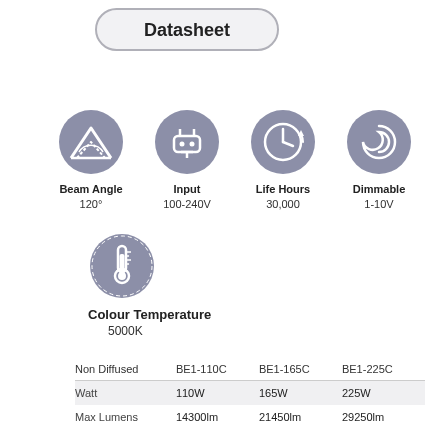Datasheet
[Figure (infographic): Four circular icons showing: Beam Angle (mountain/angle icon) 120°, Input (connector icon) 100-240V, Life Hours (clock icon) 30,000, Dimmable (spiral icon) 1-10V]
[Figure (infographic): Circular icon showing thermometer for Colour Temperature 5000K]
| Non Diffused | BE1-110C | BE1-165C | BE1-225C |
| --- | --- | --- | --- |
| Watt | 110W | 165W | 225W |
| Max Lumens | 14300lm | 21450lm | 29250lm |